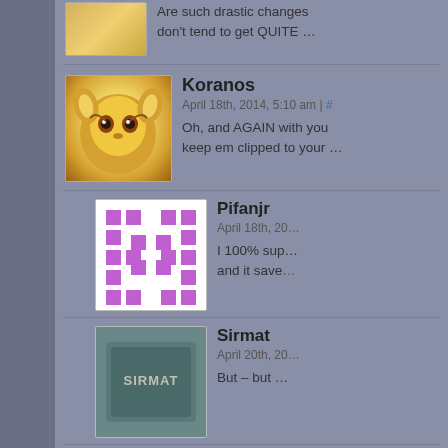[Figure (photo): Partial avatar image of animated character (top portion only visible)]
Are such drastic changes… don't tend to get QUITE…
[Figure (photo): Avatar of Koranos - animated raccoon/ratchet character]
Koranos
April 18th, 2014, 5:10 am | #
Oh, and AGAIN with you… keep em clipped to your …
[Figure (photo): Avatar of Pifanjr - purple pixel art pattern on white background]
Pifanjr
April 18th, 20…
I 100% sup… and it save…
[Figure (photo): Avatar of Sirmat - dark teal card with SIRMAT text]
Sirmat
April 20th, 20…
But – but …
Comment ¬
Your email address will not be pub…